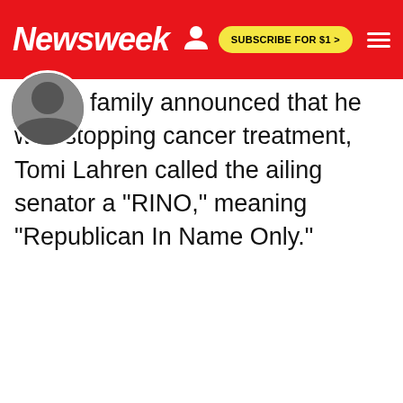Newsweek | SUBSCRIBE FOR $1 >
family announced that he was stopping cancer treatment, Tomi Lahren called the ailing senator a "RINO," meaning "Republican In Name Only."